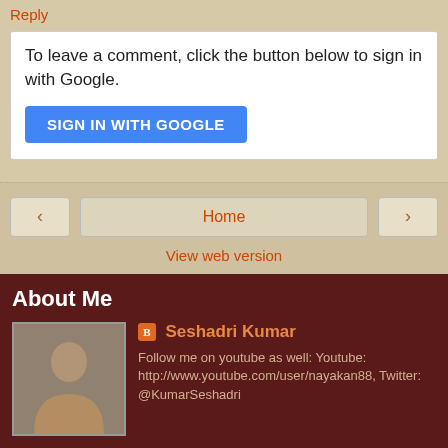Reply
To leave a comment, click the button below to sign in with Google.
SIGN IN WITH GOOGLE
Home
View web version
About Me
[Figure (photo): Profile photo of Seshadri Kumar - man in light colored shirt]
Seshadri Kumar
Follow me on youtube as well: Youtube: http://www.youtube.com/user/nayakan88, Twitter: @KumarSeshadri
View my complete profile
Powered by Blogger.